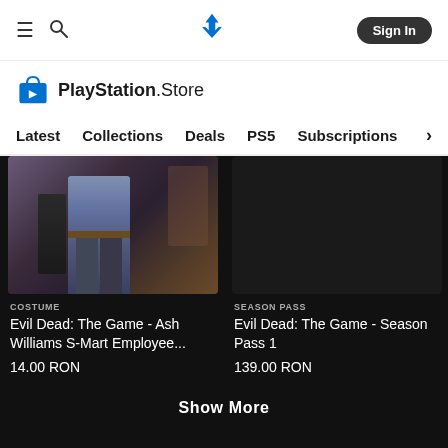PlayStation Store — Sign In
[Figure (screenshot): PlayStation Store logo with shopping bag icon and text 'PlayStation.Store']
Navigation: Latest | Collections | Deals | PS5 | Subscriptions >
[Figure (photo): Game character wearing blue outfit with mechanical arm - Evil Dead: The Game costume]
COSTUME
Evil Dead: The Game - Ash Williams S-Mart Employee...
14.00 RON
SEASON PASS
Evil Dead: The Game - Season Pass 1
139.00 RON
Show More